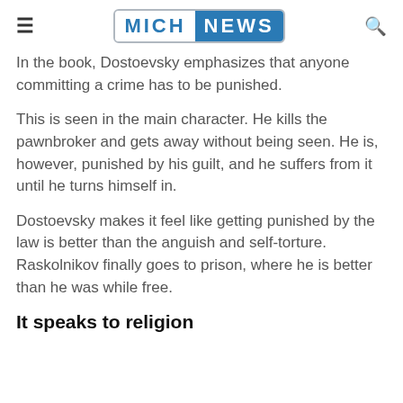MICH NEWS
In the book, Dostoevsky emphasizes that anyone committing a crime has to be punished.
This is seen in the main character. He kills the pawnbroker and gets away without being seen. He is, however, punished by his guilt, and he suffers from it until he turns himself in.
Dostoevsky makes it feel like getting punished by the law is better than the anguish and self-torture. Raskolnikov finally goes to prison, where he is better than he was while free.
It speaks to religion